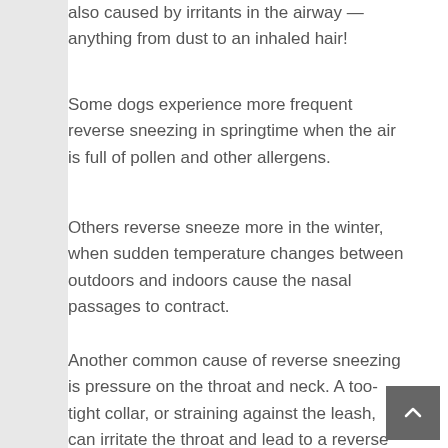also caused by irritants in the airway — anything from dust to an inhaled hair!
Some dogs experience more frequent reverse sneezing in springtime when the air is full of pollen and other allergens.
Others reverse sneeze more in the winter, when sudden temperature changes between outdoors and indoors cause the nasal passages to contract.
Another common cause of reverse sneezing is pressure on the throat and neck. A too-tight collar, or straining against the leash, can irritate the throat and lead to a reverse sneeze. That's just one more reason to consider a harness for your dog.
Finally, some dogs reverse sneeze after exercise, or when they're overexcited. This is particularly common